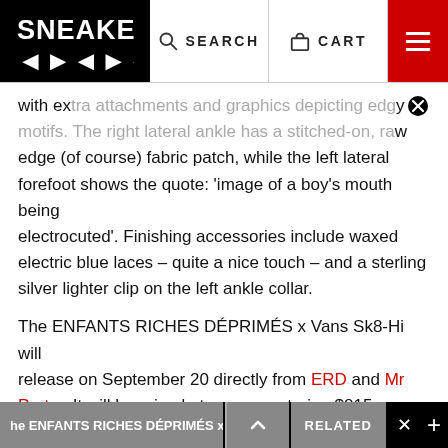SNEAKER FREAKER | SEARCH | CART
with extra attachments and graphics depicting edgy motifs. The right lateral ankle has a stitched-on, raw edge (of course) fabric patch, while the left lateral forefoot shows the quote: ‘image of a boy’s mouth being electrocuted’. Finishing accessories include waxed electric blue laces – quite a nice touch – and a sterling silver lighter clip on the left ankle collar.
The ENFANTS RICHES DÉPRIMÉS x Vans Sk8-Hi will release on September 20 directly from ERD and Mr Porter. It will be priced at an eye-watering $815 – up over $200 from the 2017 edition. However, considering the included sterling silver lighter clip was previously sold for $125 standalone, the value proposition here feels slightly more palatable.
The ENFANTS RICHES DÉPRIMÉS x Va | ^ | RELATED | × | +